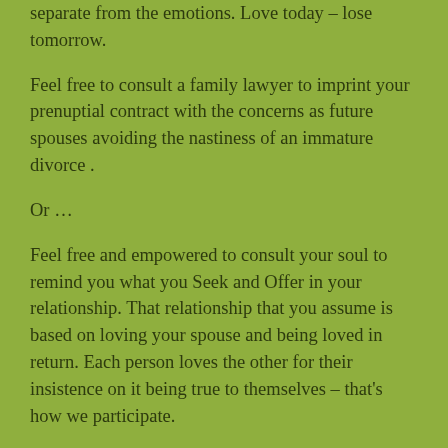separate from the emotions.  Love today – lose tomorrow.
Feel free to consult a family lawyer to imprint your prenuptial contract with the concerns as future spouses avoiding the nastiness of an immature divorce .
Or …
Feel free and empowered to consult your soul to remind you what you Seek and Offer in your relationship.  That relationship that you assume is based on loving your spouse and being loved in return.  Each person loves the other for their insistence on it being true to themselves – that's how we participate.
How do you Participate?  Legally?  Or Soulfully.  A